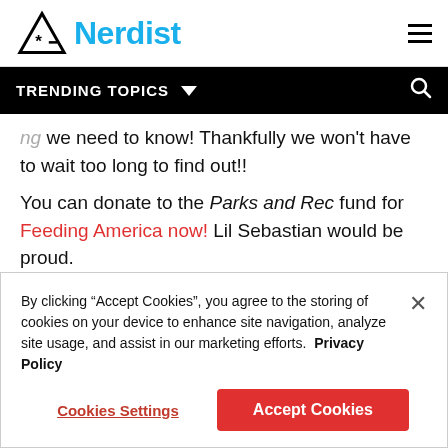Nerdist
TRENDING TOPICS
we need to know! Thankfully we won't have to wait too long to find out!!
You can donate to the Parks and Rec fund for Feeding America now! Lil Sebastian would be proud.
Header Image: NBC
By clicking “Accept Cookies”, you agree to the storing of cookies on your device to enhance site navigation, analyze site usage, and assist in our marketing efforts. Privacy Policy
Cookies Settings
Accept Cookies